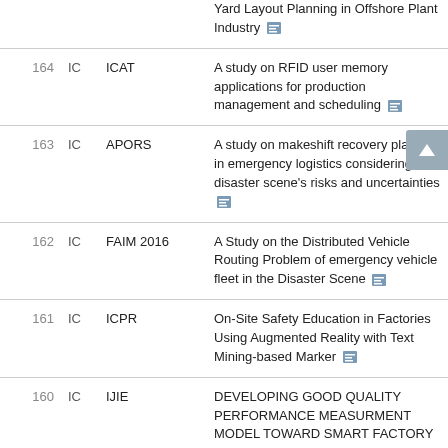| No. | Type | Venue | Title |
| --- | --- | --- | --- |
|  |  |  | Yard Layout Planning in Offshore Plant Industry |
| 164 | IC | ICAT | A study on RFID user memory applications for production management and scheduling |
| 163 | IC | APORS | A study on makeshift recovery planning in emergency logistics considering disaster scene's risks and uncertainties |
| 162 | IC | FAIM 2016 | A Study on the Distributed Vehicle Routing Problem of emergency vehicle fleet in the Disaster Scene |
| 161 | IC | ICPR | On-Site Safety Education in Factories Using Augmented Reality with Text Mining-based Marker |
| 160 | IC | IJIE | DEVELOPING GOOD QUALITY PERFORMANCE MEASURMENT MODEL TOWARD SMART FACTORY |